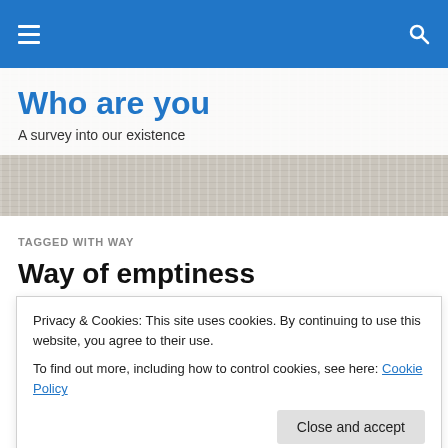Who are you — site navigation bar
Who are you
A survey into our existence
TAGGED WITH WAY
Way of emptiness
Privacy & Cookies: This site uses cookies. By continuing to use this website, you agree to their use. To find out more, including how to control cookies, see here: Cookie Policy
Halfway through the afternoon – when the boat is released